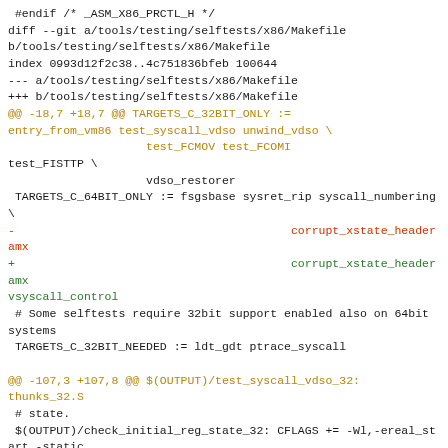#endif /* _ASM_X86_PRCTL_H */
diff --git a/tools/testing/selftests/x86/Makefile b/tools/testing/selftests/x86/Makefile
index 0993d12f2c38..4c751836bfeb 100644
--- a/tools/testing/selftests/x86/Makefile
+++ b/tools/testing/selftests/x86/Makefile
@@ -18,7 +18,7 @@ TARGETS_C_32BIT_ONLY :=
entry_from_vm86 test_syscall_vdso unwind_vdso \
                    test_FCMOV test_FCOMI
test_FISTTP \
                    vdso_restorer
 TARGETS_C_64BIT_ONLY := fsgsbase sysret_rip syscall_numbering \
-                                        corrupt_xstate_header amx
+                                        corrupt_xstate_header amx
vsyscall_control
 # Some selftests require 32bit support enabled also on 64bit systems
 TARGETS_C_32BIT_NEEDED := ldt_gdt ptrace_syscall

@@ -107,3 +107,8 @@ $(OUTPUT)/test_syscall_vdso_32:
thunks_32.S
 # state.
 $(OUTPUT)/check_initial_reg_state_32: CFLAGS += -Wl,-ereal_start -static
 $(OUTPUT)/check_initial_reg_state_64: CFLAGS += -Wl,-ereal_start -static
+
+# This test does not link against anything (neither libc nor libgcc).